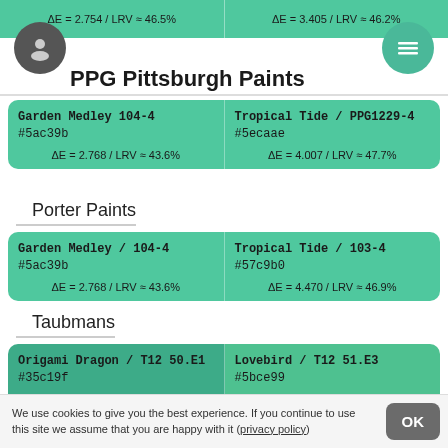ΔE = 2.754 / LRV ≈ 46.5%
ΔE = 3.405 / LRV ≈ 46.2%
PPG Pittsburgh Paints
| Color Name | Stats |
| --- | --- |
| Garden Medley 104-4
#5ac39b | ΔE = 2.768 / LRV ≈ 43.6% |
| Tropical Tide / PPG1229-4
#5ecaae | ΔE = 4.007 / LRV ≈ 47.7% |
Porter Paints
| Color Name | Stats |
| --- | --- |
| Garden Medley / 104-4
#5ac39b | ΔE = 2.768 / LRV ≈ 43.6% |
| Tropical Tide / 103-4
#57c9b0 | ΔE = 4.470 / LRV ≈ 46.9% |
Taubmans
| Color Name | Stats |
| --- | --- |
| Origami Dragon / T12 50.E1
#35c19f | ΔE = 2.802 / LRV ≈ 41.4% |
| Lovebird / T12 51.E3
#5bce99 | ΔE = 5.041 / LRV ≈ 48.7% |
Brighto Paints
We use cookies to give you the best experience. If you continue to use this site we assume that you are happy with it (privacy policy)